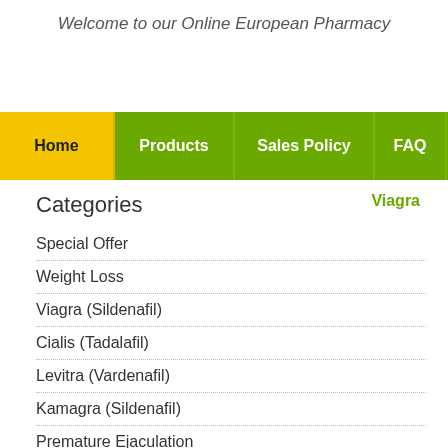Welcome to our Online European Pharmacy
Home | Products | Sales Policy | FAQ
Categories
Viagra
Special Offer
Weight Loss
Viagra (Sildenafil)
Cialis (Tadalafil)
Levitra (Vardenafil)
Kamagra (Sildenafil)
Premature Ejaculation